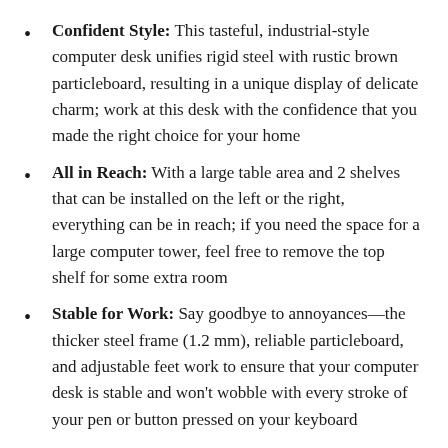Confident Style: This tasteful, industrial-style computer desk unifies rigid steel with rustic brown particleboard, resulting in a unique display of delicate charm; work at this desk with the confidence that you made the right choice for your home
All in Reach: With a large table area and 2 shelves that can be installed on the left or the right, everything can be in reach; if you need the space for a large computer tower, feel free to remove the top shelf for some extra room
Stable for Work: Say goodbye to annoyances—the thicker steel frame (1.2 mm), reliable particleboard, and adjustable feet work to ensure that your computer desk is stable and won't wobble with every stroke of your pen or button pressed on your keyboard
No Degree Required: Assembling this writing desk with shelves won't require an advanced degree in engineering; detailed instructions and clearly labeled parts let you set it up